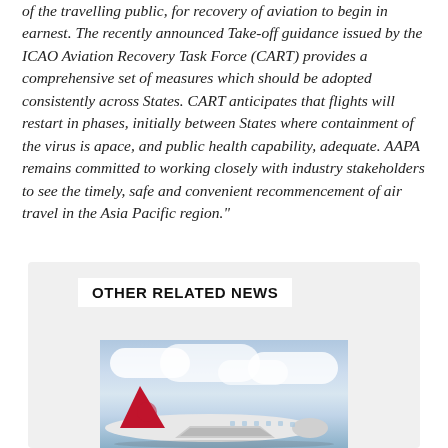of the travelling public, for recovery of aviation to begin in earnest. The recently announced Take-off guidance issued by the ICAO Aviation Recovery Task Force (CART) provides a comprehensive set of measures which should be adopted consistently across States. CART anticipates that flights will restart in phases, initially between States where containment of the virus is apace, and public health capability, adequate. AAPA remains committed to working closely with industry stakeholders to see the timely, safe and convenient recommencement of air travel in the Asia Pacific region."
OTHER RELATED NEWS
[Figure (photo): Photograph of a red-tailed airplane (appears to be Turkish Airlines or similar) on a runway or taxiway, with a blue sky and white clouds in the background.]